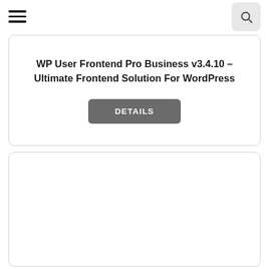Navigation header with hamburger menu and search button
WP User Frontend Pro Business v3.4.10 – Ultimate Frontend Solution For WordPress
DETAILS